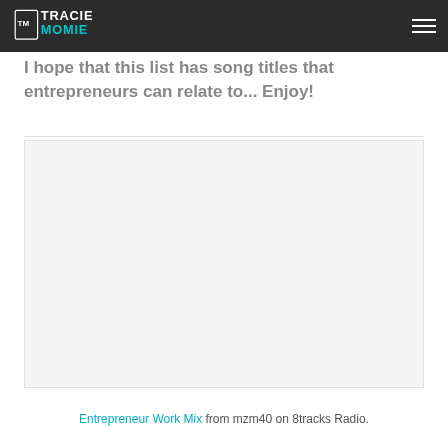Tracie Momie [logo] [hamburger menu]
I hope that this list has song titles that entrepreneurs can relate to... Enjoy!
[Figure (other): Embedded 8tracks music player widget (Entrepreneur Work Mix by mzm40)]
Entrepreneur Work Mix from mzm40 on 8tracks Radio.